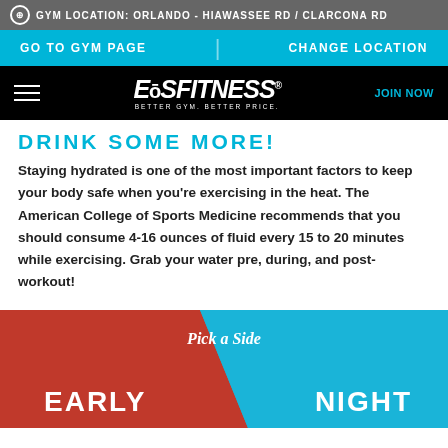GYM LOCATION: ORLANDO - HIAWASSEE RD / CLARCONA RD
GO TO GYM PAGE | CHANGE LOCATION
[Figure (logo): EōS Fitness logo — white text on black background with tagline BETTER GYM. BETTER PRICE. JOIN NOW button in cyan.]
DRINK SOME MORE!
Staying hydrated is one of the most important factors to keep your body safe when you're exercising in the heat. The American College of Sports Medicine recommends that you should consume 4-16 ounces of fluid every 15 to 20 minutes while exercising. Grab your water pre, during, and post-workout!
[Figure (infographic): Pick a Side graphic split diagonally — red left half labeled EARLY, cyan right half labeled NIGHT, with italic 'Pick a Side' text in the center.]